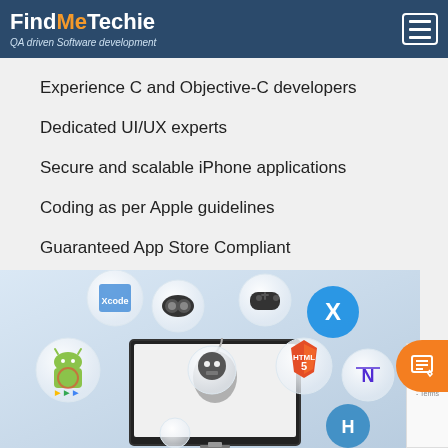FindMeTechie — QA driven Software development
Experience C and Objective-C developers
Dedicated UI/UX experts
Secure and scalable iPhone applications
Coding as per Apple guidelines
Guaranteed App Store Compliant
[Figure (illustration): Technology bubbles illustration showing various mobile and web development icons including Android, Apple, HTML5, Xamarin, game controller, VR headset, and a Mac display with Apple logo in the center.]